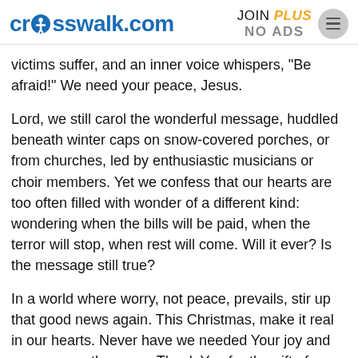crosswalk.com | JOIN PLUS NO ADS
victims suffer, and an inner voice whispers, "Be afraid!" We need your peace, Jesus.
Lord, we still carol the wonderful message, huddled beneath winter caps on snow-covered porches, or from churches, led by enthusiastic musicians or choir members. Yet we confess that our hearts are too often filled with wonder of a different kind: wondering when the bills will be paid, when the terror will stop, when rest will come. Will it ever? Is the message still true?
In a world where worry, not peace, prevails, stir up that good news again. This Christmas, make it real in our hearts. Never have we needed Your joy and peace more than now. Thank You for the gift of Jesus, our Immanuel, the Word made flesh. Forgive